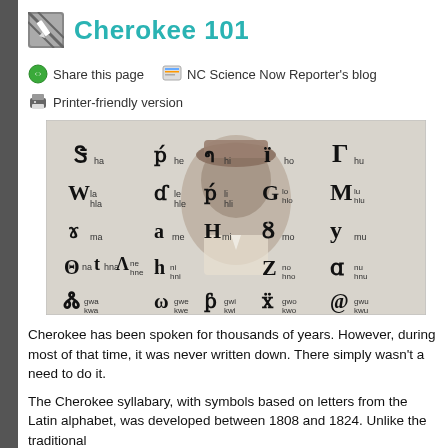Cherokee 101
Share this page   NC Science Now Reporter's blog
Printer-friendly version
[Figure (illustration): Cherokee syllabary chart showing Cherokee script symbols with their Latin transliterations (ha, he, hi, ho, hu, la/hla, le/hle, li/hli, lo/hlo, lu/hlu, ma, me, mi, mo, mu, na/hna/nhe, ni/hni, no/hno, nu/hnu, gwa/kwa, gwe/kwe, gwi/kwi, gwo/kwo, gwu/kwu) overlaid on a portrait photograph of a man in historical dress.]
Cherokee has been spoken for thousands of years. However, during most of that time, it was never written down. There simply wasn't a need to do it.
The Cherokee syllabary, with symbols based on letters from the Latin alphabet, was developed between 1808 and 1824. Unlike the traditional